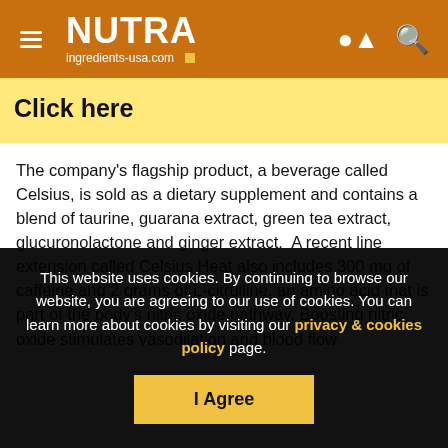NUTRA ingredients-usa.com
Click here
The company's flagship product, a beverage called Celsius, is sold as a dietary supplement and contains a blend of taurine, guarana extract, green tea extract, glucuronolactone and ginger extract.  A recent line extension called Celsius Heat also includes 300 mg of caffeine and 2 grams of L-citrulline, an amino acid that is part of the body's nitric oxide pathway. Boosting nitric oxide stimulates vasodilation and blood flow
This website uses cookies. By continuing to browse our website, you are agreeing to our use of cookies. You can learn more about cookies by visiting our privacy & cookies policy page.
I Agree